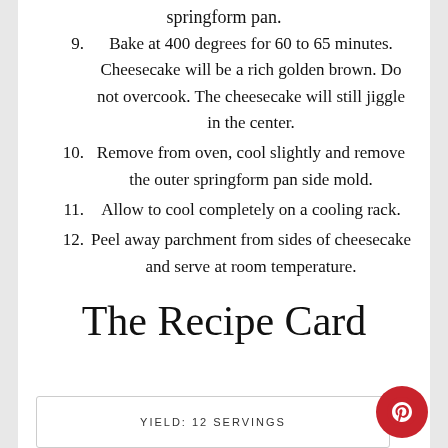springform pan.
9. Bake at 400 degrees for 60 to 65 minutes. Cheesecake will be a rich golden brown. Do not overcook. The cheesecake will still jiggle in the center.
10. Remove from oven, cool slightly and remove the outer springform pan side mold.
11. Allow to cool completely on a cooling rack.
12. Peel away parchment from sides of cheesecake and serve at room temperature.
The Recipe Card
YIELD: 12 SERVINGS